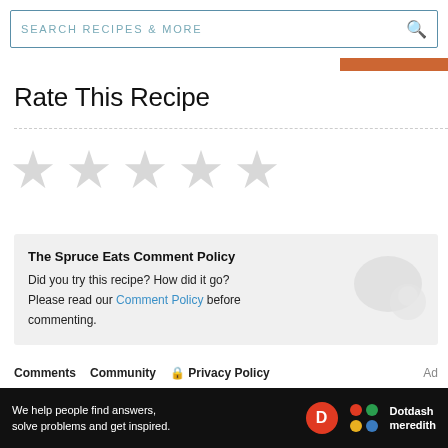SEARCH RECIPES & MORE
Rate This Recipe
[Figure (other): Five empty gray stars for rating]
The Spruce Eats Comment Policy
Did you try this recipe? How did it go?
Please read our Comment Policy before commenting.
Comments   Community   Privacy Policy   Ad
[Figure (infographic): Dotdash Meredith ad banner: We help people find answers, solve problems and get inspired.]